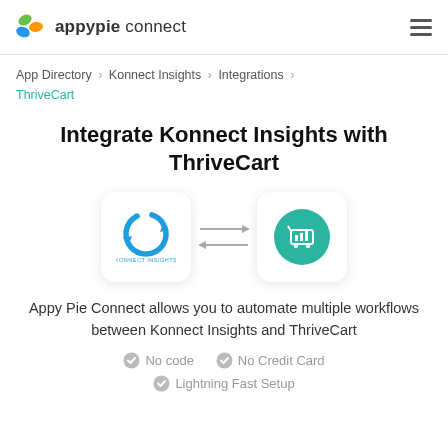appypie connect
App Directory > Konnect Insights > Integrations > ThriveCart
Integrate Konnect Insights with ThriveCart
[Figure (illustration): Konnect Insights logo icon in a rounded white card with shadow, bidirectional arrows in center, ThriveCart teal circle icon with shopping cart and bar chart in a rounded white card with shadow]
Appy Pie Connect allows you to automate multiple workflows between Konnect Insights and ThriveCart
No code
No Credit Card
Lightning Fast Setup